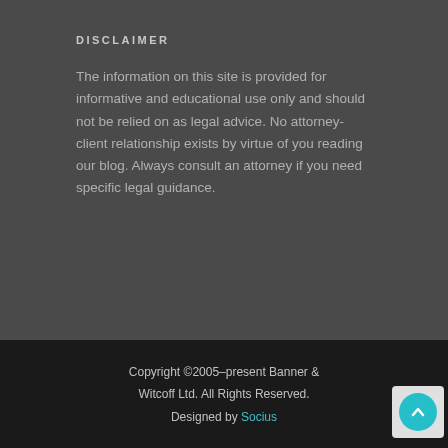DISCLAIMER
The information on this site is provided for informative and educational use only and should not be relied on as legal advice.  No attorney-client relationship exists by virtue of you reading our blog.  Always consult an attorney if you need specific legal guidance.
Copyright ©2005–present Banner & Witcoff Ltd. All Rights Reserved.
Designed by Socius